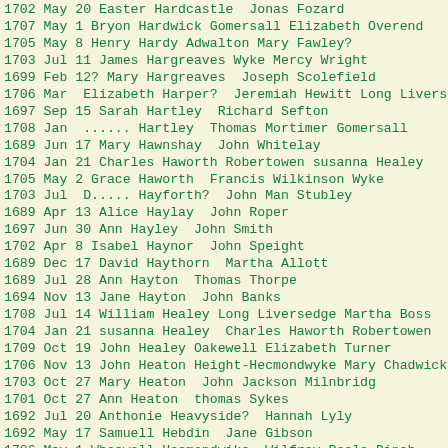1702 May 20 Easter Hardcastle  Jonas Fozard
1707 May 1 Bryon Hardwick Gomersall Elizabeth Overend
1705 May 8 Henry Hardy Adwalton Mary Fawley?
1703 Jul 11 James Hargreaves Wyke Mercy Wright
1699 Feb 12? Mary Hargreaves  Joseph Scolefield
1706 Mar  Elizabeth Harper?  Jeremiah Hewitt Long Liverse
1697 Sep 15 Sarah Hartley  Richard Sefton
1708 Jan  ...... Hartley  Thomas Mortimer Gomersall
1689 Jun 17 Mary Hawnshay  John Whitelay
1704 Jan 21 Charles Haworth Robertowen susanna Healey
1705 May 2 Grace Haworth  Francis Wilkinson Wyke
1703 Jul  D..... Hayforth?  John Man Stubley
1689 Apr 13 Alice Haylay  John Roper
1697 Jun 30 Ann Hayley  John Smith
1702 Apr 8 Isabel Haynor  John Speight
1689 Dec 17 David Haythorn  Martha Allott
1689 Jul 28 Ann Hayton  Thomas Thorpe
1694 Nov 13 Jane Hayton  John Banks
1708 Jul 14 William Healey Long Liversedge Martha Boss
1704 Jan 21 susanna Healey  Charles Haworth Robertowen
1709 Oct 19 John Healey Oakewell Elizabeth Turner
1706 Nov 13 John Heaton Height-Hecmondwyke Mary Chadwick
1703 Oct 27 Mary Heaton  John Jackson Milnbridg
1701 Oct 27 Ann Heaton  thomas Sykes
1692 Jul 20 Anthonie Heavyside?  Hannah Lyly
1692 May 17 Samuell Hebdin  Jane Gibson
1706 May 1 Wheawell Hecmondwike  Wilfray Peele Dinah
1694 May 2 William Hellewell  Grace Rayner
1692 Nov 10 Francis Hellewell  Sarah Stead
1701 Nov 27 Thomas Hemingway  Martha Clayton
1699 Nov 16 Michael Hemingway  Mary Tarnsen